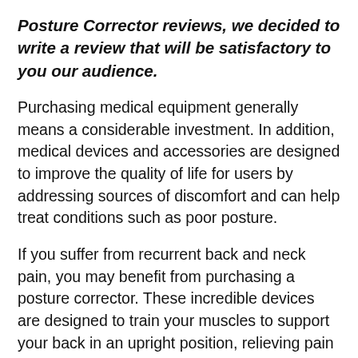Posture Corrector reviews, we decided to write a review that will be satisfactory to you our audience.
Purchasing medical equipment generally means a considerable investment. In addition, medical devices and accessories are designed to improve the quality of life for users by addressing sources of discomfort and can help treat conditions such as poor posture.
If you suffer from recurrent back and neck pain, you may benefit from purchasing a posture corrector. These incredible devices are designed to train your muscles to support your back in an upright position, relieving pain while gradually correcting your